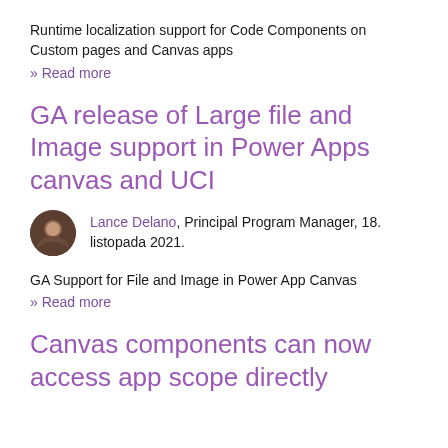Runtime localization support for Code Components on Custom pages and Canvas apps
» Read more
GA release of Large file and Image support in Power Apps canvas and UCI
Lance Delano, Principal Program Manager, 18. listopada 2021.
GA Support for File and Image in Power App Canvas
» Read more
Canvas components can now access app scope directly